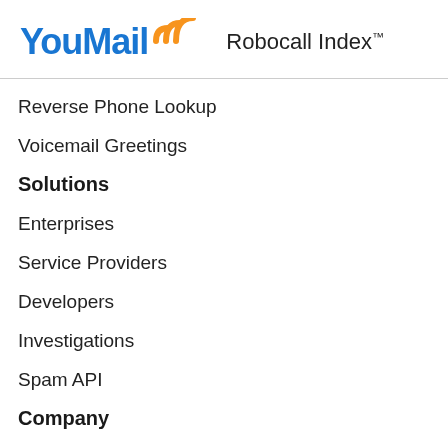YouMail:))) Robocall Index™
Reverse Phone Lookup
Voicemail Greetings
Solutions
Enterprises
Service Providers
Developers
Investigations
Spam API
Company
About Us
Media Coverage